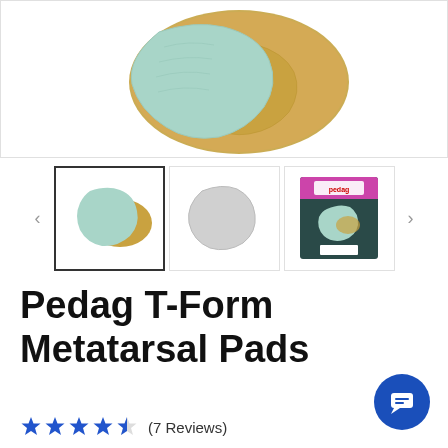[Figure (photo): Main product image showing mint/aqua colored and gold/tan metatarsal pads overlapping on white background]
[Figure (photo): Thumbnail 1: mint and tan metatarsal pads, currently selected with dark border]
[Figure (photo): Thumbnail 2: single white/grey metatarsal pad on white background]
[Figure (photo): Thumbnail 3: Product packaging box showing Pedag brand with dark teal/black background, pink accent and product]
Pedag T-Form Metatarsal Pads
★★★★½ (7 Reviews)